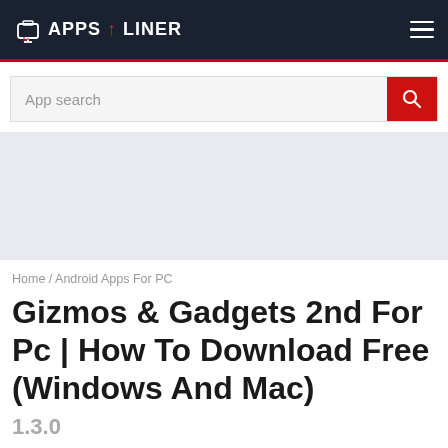APPS LINER
[Figure (screenshot): App search bar with red search button]
[Figure (other): Gray advertisement placeholder block]
Home / Android Apps For PC
Gizmos & Gadgets 2nd For Pc | How To Download Free (Windows And Mac)
1.3.0